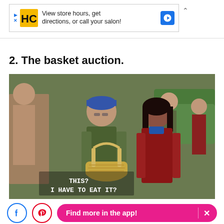[Figure (screenshot): Advertisement banner for Hair Club showing logo, text 'View store hours, get directions, or call your salon!', navigation arrow icon, and close button]
2. The basket auction.
[Figure (screenshot): TV screenshot from Gilmore Girls showing a man in a green jacket and blue cap holding a wicker basket, and a woman in a red jacket. Subtitle text reads 'THIS? I HAVE TO EAT IT?']
Warner Bros / Netflix
[Figure (screenshot): Bottom app promotion bar with Facebook share button, Pinterest share button, and 'Find more in the app!' button with X close]